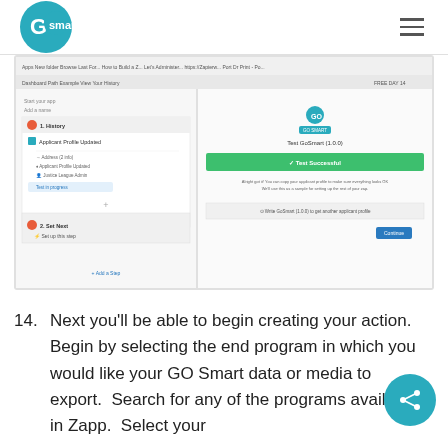GO Smart logo and navigation
[Figure (screenshot): Screenshot of a Zapier/GoSmart integration interface showing applicant profile updated trigger and test results with a success message]
14. Next you'll be able to begin creating your action.  Begin by selecting the end program in which you would like your GO Smart data or media to export.  Search for any of the programs available in Zapp.  Select your